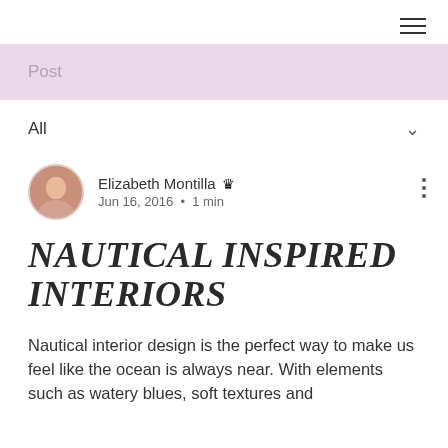≡
Post
All
Elizabeth Montilla 👑
Jun 16, 2016  •  1 min
NAUTICAL INSPIRED INTERIORS
Nautical interior design is the perfect way to make us feel like the ocean is always near. With elements such as watery blues, soft textures and